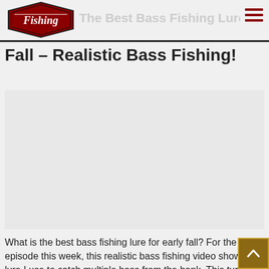Realistic Bass Fishing — site logo and navigation
The Best Bass Fishing Lure For Early Fall – Realistic Bass Fishing!
[Figure (other): Embedded video player area (blank/loading state) showing a bass fishing video]
What is the best bass fishing lure for early fall? For the final episode this week, this realistic bass fishing video shows the lure I use to catch multiple bass from the bank. This turned out